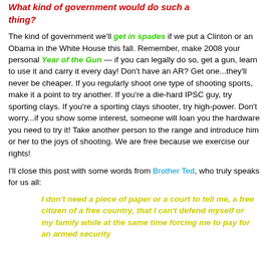What kind of government would do such a thing?
The kind of government we'll get in spades if we put a Clinton or an Obama in the White House this fall. Remember, make 2008 your personal Year of the Gun — if you can legally do so, get a gun, learn to use it and carry it every day! Don't have an AR? Get one...they'll never be cheaper. If you regularly shoot one type of shooting sports, make it a point to try another. If you're a die-hard IPSC guy, try sporting clays. If you're a sporting clays shooter, try high-power. Don't worry...if you show some interest, someone will loan you the hardware you need to try it! Take another person to the range and introduce him or her to the joys of shooting. We are free because we exercise our rights!
I'll close this post with some words from Brother Ted, who truly speaks for us all:
I don't need a piece of paper or a court to tell me, a free citizen of a free country, that I can't defend myself or my family while at the same time forcing me to pay for an armed security...